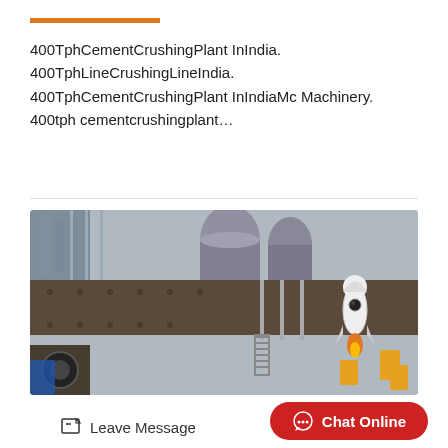400TphCementCrushingPlant InIndia. 400TphLineCrushingLineIndia. 400TphCementCrushingPlant InIndiaMc Machinery. 400tph cementcrushingplant…
[Figure (photo): Industrial cement crushing plant machinery with large metal frame, springs, and mechanical components visible. A rocket/astronaut emoji overlay appears in the upper right area of the photo.]
Leave Message
Chat Online